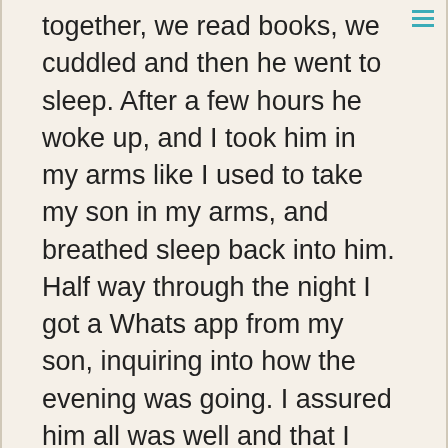together, we read books, we cuddled and then he went to sleep. After a few hours he woke up, and I took him in my arms like I used to take my son in my arms, and breathed sleep back into him. Half way through the night I got a Whats app from my son, inquiring into how the evening was going. I assured him all was well and that I was having a great time with Felix. When they came home, both parents were keen to know how Felix had fared and I found myself really having to make sure that I addressed both parents, not just the mother. This morning I sent a Whats app to my son to ask how the night had gone after I left and told him more of the details he